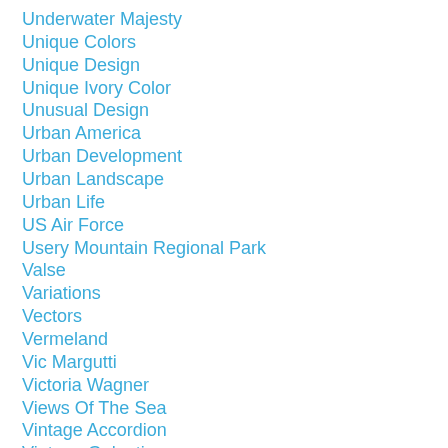Underwater Majesty
Unique Colors
Unique Design
Unique Ivory Color
Unusual Design
Urban America
Urban Development
Urban Landscape
Urban Life
US Air Force
Usery Mountain Regional Park
Valse
Variations
Vectors
Vermeland
Vic Margutti
Victoria Wagner
Views Of The Sea
Vintage Accordion
Vintage Galanti
Vintage Hohner